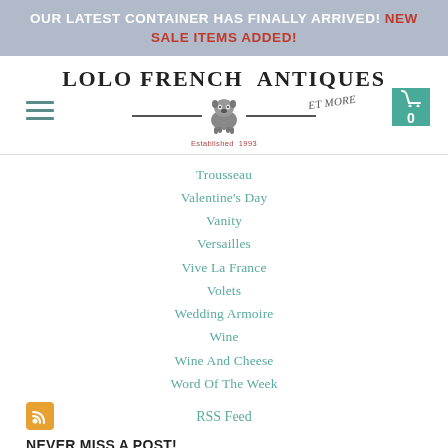OUR LATEST CONTAINER HAS FINALLY ARRIVED! NEW SALE ITEMS ADDED!
[Figure (logo): Lolo French Antiques Et More logo with bulldog illustration and 'Established 1993' text]
Trousseau
Valentine's Day
Vanity
Versailles
Vive La France
Volets
Wedding Armoire
Wine
Wine And Cheese
Word Of The Week
RSS Feed
NEVER MISS A POST!